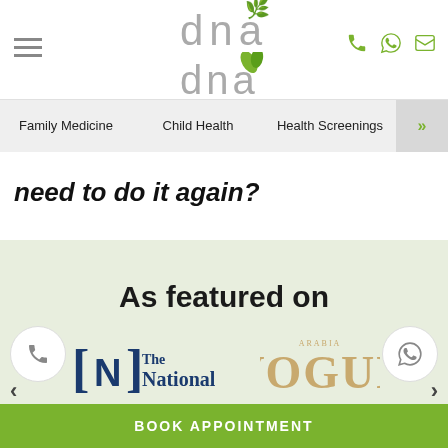[Figure (logo): DNA Health & Wellness logo with green leaf motif]
Family Medicine | Child Health | Health Screenings
need to do it again?
As featured on
[Figure (logo): The National newspaper logo]
[Figure (logo): Vogue Arabia magazine logo]
BOOK APPOINTMENT